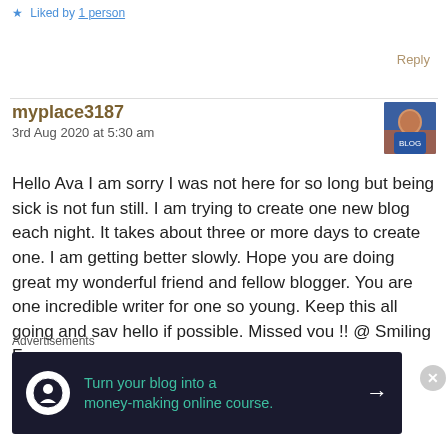Liked by 1 person
Reply
myplace3187
3rd Aug 2020 at 5:30 am
[Figure (photo): User avatar photo of myplace3187, showing a person in a blue shirt]
Hello Ava I am sorry I was not here for so long but being sick is not fun still. I am trying to create one new blog each night. It takes about three or more days to create one. I am getting better slowly. Hope you are doing great my wonderful friend and fellow blogger. You are one incredible writer for one so young. Keep this all going and say hello if possible. Missed you !! @ Smiling Face
Advertisements
[Figure (screenshot): Advertisement banner: Turn your blog into a money-making online course.]